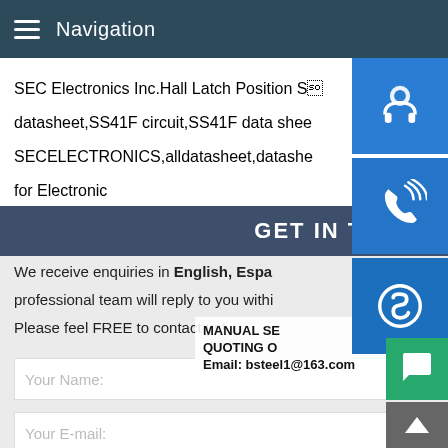Navigation
SEC Electronics Inc.Hall Latch Position Se datasheet,SS41F circuit,SS41F data shee SECELECTRONICS,alldatasheet,datashe for Electronic
GET IN TOUCH
We receive enquiries in English, Espa professional team will reply to you withi Please feel FREE to contact us!
[Figure (photo): Customer service representative woman with headset, smiling, with blue customer service icons on the right side (headset icon, phone icon, Skype icon). Overlay text: MANUAL SE, QUOTING O, Email: bsteel1@163.com]
MANUAL SE
QUOTING O
Email: bsteel1@163.com
Your Name:
Your E-mail: